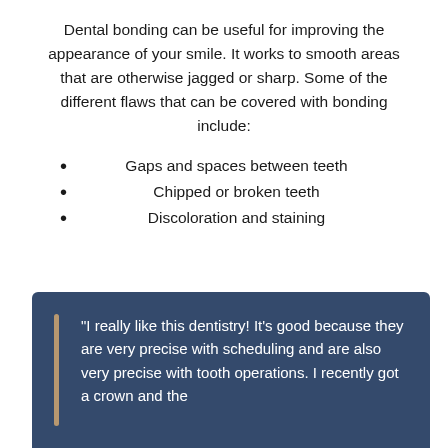Dental bonding can be useful for improving the appearance of your smile. It works to smooth areas that are otherwise jagged or sharp. Some of the different flaws that can be covered with bonding include:
Gaps and spaces between teeth
Chipped or broken teeth
Discoloration and staining
"I really like this dentistry! It's good because they are very precise with scheduling and are also very precise with tooth operations. I recently got a crown and the